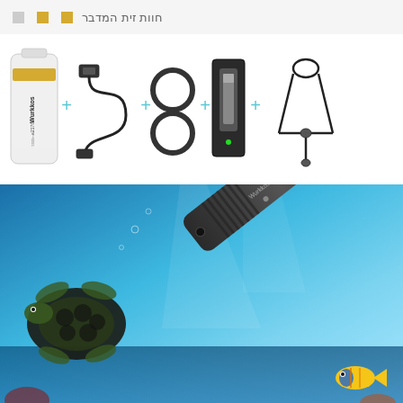חוות זית המדבר
[Figure (photo): Product accessories layout showing: Wurkkos 21700 battery, USB cable, two O-rings, battery charger, and lanyard strap arranged in a row with plus signs between them on white background]
[Figure (photo): Wurkkos DX30 diving flashlight held at angle against underwater ocean background with sea turtle, tropical fish, and blue water visible]